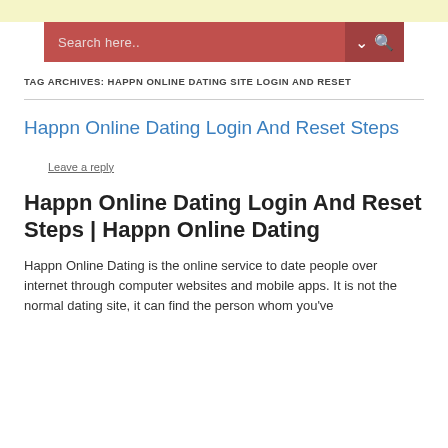Search here..
TAG ARCHIVES: HAPPN ONLINE DATING SITE LOGIN AND RESET
Happn Online Dating Login And Reset Steps
Leave a reply
Happn Online Dating Login And Reset Steps | Happn Online Dating
Happn Online Dating is the online service to date people over internet through computer websites and mobile apps. It is not the normal dating site, it can find the person whom you've